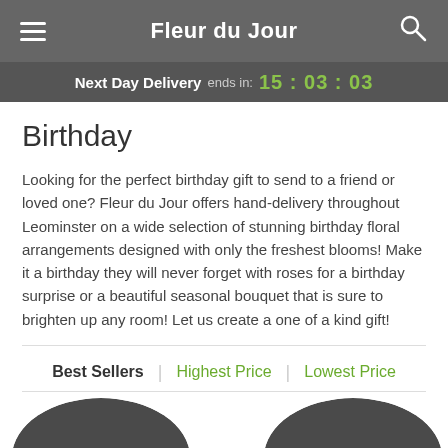Fleur du Jour
Next Day Delivery ends in: 15:03:03
Birthday
Looking for the perfect birthday gift to send to a friend or loved one? Fleur du Jour offers hand-delivery throughout Leominster on a wide selection of stunning birthday floral arrangements designed with only the freshest blooms! Make it a birthday they will never forget with roses for a birthday surprise or a beautiful seasonal bouquet that is sure to brighten up any room! Let us create a one of a kind gift!
Best Sellers | Highest Price | Lowest Price
[Figure (photo): Two circular thumbnail photos of flower bouquets being held, partially visible at the bottom of the page]